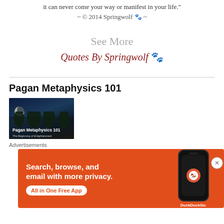it can never come your way or manifest in your life."
~ © 2014 Springwolf 🐾 ~
See More
Quotes By Springwolf 🐾
Pagan Metaphysics 101
[Figure (photo): Book cover image for Pagan Metaphysics 101 - The Beginning of Enlightenment, showing a moon over dark trees at night]
Advertisements
[Figure (screenshot): DuckDuckGo advertisement banner: Search, browse, and email with more privacy. All in One Free App. Shows DuckDuckGo logo on a phone, orange background.]